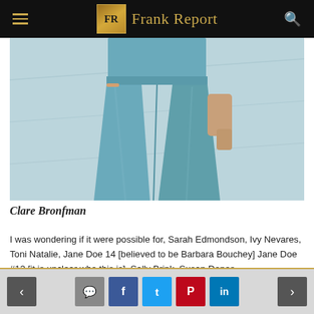Frank Report
[Figure (photo): Photo of Clare Bronfman from waist down, wearing light blue wide-leg trousers, standing outdoors against a light concrete/wall background]
Clare Bronfman
I was wondering if it were possible for, Sarah Edmondson, Ivy Nevares, Toni Natalie, Jane Doe 14 [believed to be Barbara Bouchey] Jane Doe #12 [it is unclear who this is], Sally Brink, Susan Dones,